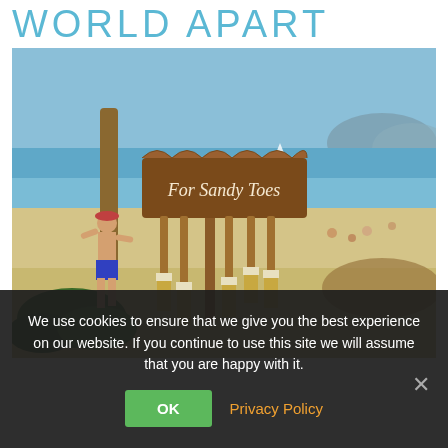WORLD APART
[Figure (photo): Beach scene with a wooden sign reading 'For Sandy Toes' with paint brushes hanging from it. A boy in swim trunks walks on the sand in the background, with ocean, mountains, and beachgoers visible.]
We use cookies to ensure that we give you the best experience on our website. If you continue to use this site we will assume that you are happy with it.
OK
Privacy Policy